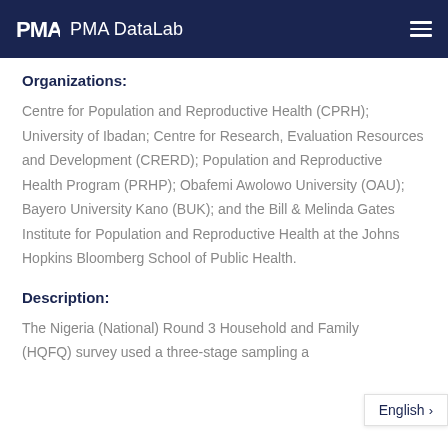PMA DataLab
Organizations:
Centre for Population and Reproductive Health (CPRH); University of Ibadan; Centre for Research, Evaluation Resources and Development (CRERD); Population and Reproductive Health Program (PRHP); Obafemi Awolowo University (OAU); Bayero University Kano (BUK); and the Bill & Melinda Gates Institute for Population and Reproductive Health at the Johns Hopkins Bloomberg School of Public Health.
Description:
The Nigeria (National) Round 3 Household and Family (HQFQ) survey used a three-stage sampling a